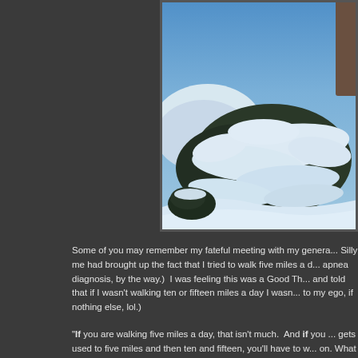[Figure (photo): A winter outdoor scene showing snow-covered evergreen tree branches with deep snow on the ground, bright blue sky visible in background, taken on a sunny winter day.]
Some of you may remember my fateful meeting with my genera... Silly me had brought up the fact that I tried to walk five miles a d... apnea diagnosis, by the way.)  I was feeling this was a Good Th... and told that if I wasn't walking ten or fifteen miles a day I wasn... to my ego, if nothing else, lol.)
"If you are walking five miles a day, that isn't much.  And if you ... gets used to five miles and then ten and fifteen, you'll have to w... on. What sort of exercise will you do in winter?  You should buy...